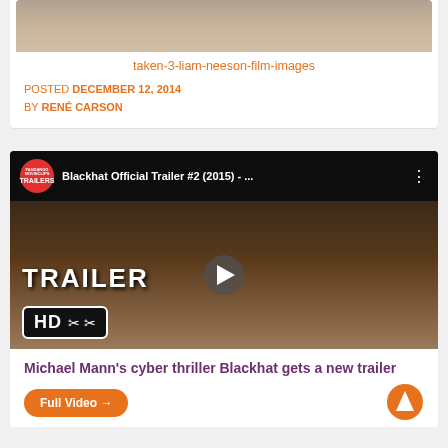[Figure (photo): Top portion of a film still from Taken 3 showing a person in a desert landscape]
taken-3-liam-neeson-film-images
POSTED DECEMBER 12, 2014
BY RENÉ CARSON
[Figure (screenshot): YouTube video thumbnail for Blackhat Official Trailer #2 (2015) showing man's face with TRAILER HD overlay and play button]
Michael Mann's cyber thriller Blackhat gets a new trailer
Full Video →